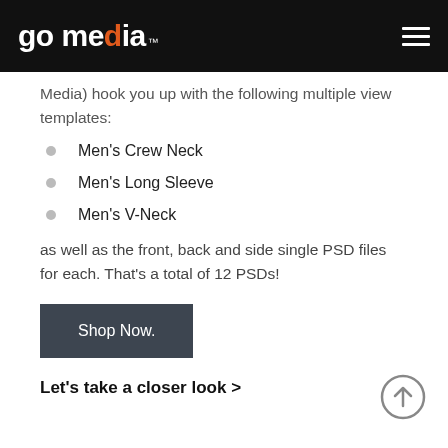go media™
Media) hook you up with the following multiple view templates:
Men's Crew Neck
Men's Long Sleeve
Men's V-Neck
as well as the front, back and side single PSD files for each. That's a total of 12 PSDs!
Shop Now.
Let's take a closer look >